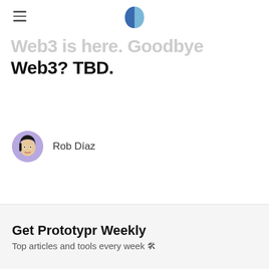Prototypr logo header with hamburger menu
Web3 is here. Goodbye Web3? TBD.
Rob Díaz
Get Prototypr Weekly
Top articles and tools every week 🛠